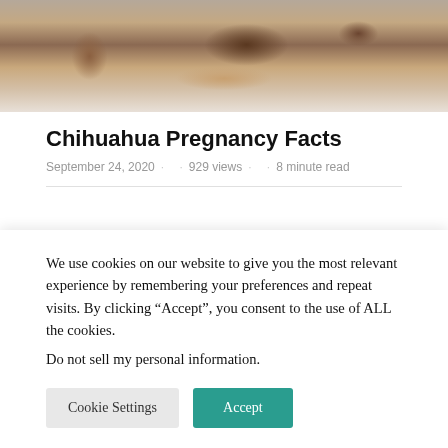[Figure (photo): Partial photo of a Chihuahua dog lying down, cropped at top]
Chihuahua Pregnancy Facts
September 24, 2020 · · 929 views · · 8 minute read
We use cookies on our website to give you the most relevant experience by remembering your preferences and repeat visits. By clicking “Accept”, you consent to the use of ALL the cookies. Do not sell my personal information.